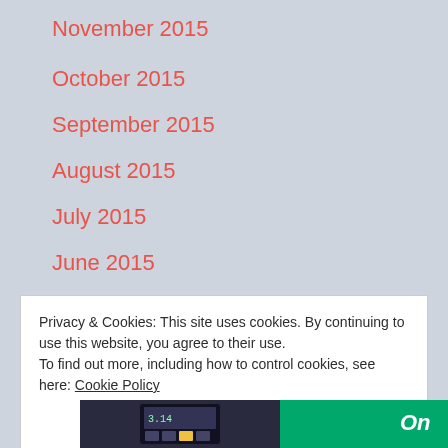November 2015
October 2015
September 2015
August 2015
July 2015
June 2015
May 2015
April 2015
Privacy & Cookies: This site uses cookies. By continuing to use this website, you agree to their use.
To find out more, including how to control cookies, see here: Cookie Policy
[Figure (photo): Bottom partial image showing a calculator or device on dark/green background]